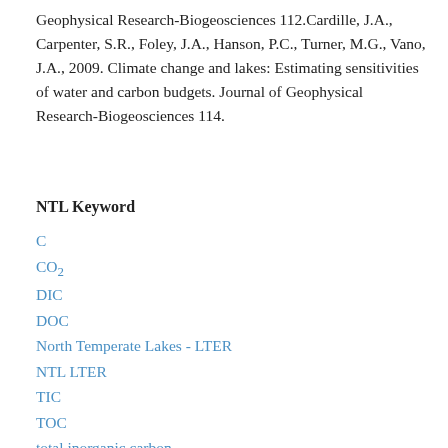Geophysical Research-Biogeosciences 112.Cardille, J.A., Carpenter, S.R., Foley, J.A., Hanson, P.C., Turner, M.G., Vano, J.A., 2009. Climate change and lakes: Estimating sensitivities of water and carbon budgets. Journal of Geophysical Research-Biogeosciences 114.
NTL Keyword
C
CO2
DIC
DOC
North Temperate Lakes - LTER
NTL LTER
TIC
TOC
total inorganic carbon
total particulate matter